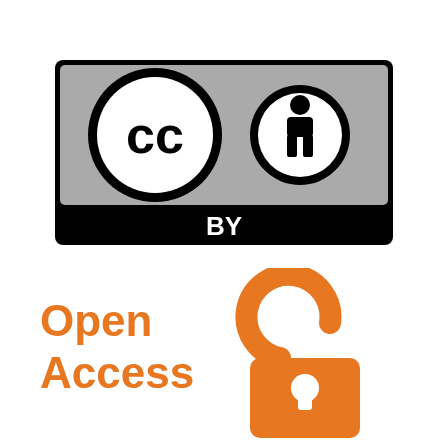[Figure (logo): Creative Commons BY license logo: gray rectangle with black border, containing a CC circle icon on the left and a person/attribution icon on the right, with a black bar at the bottom showing 'BY' in white bold text]
[Figure (logo): Open Access logo: orange text 'Open Access' on the left and an open padlock icon in orange on the right]